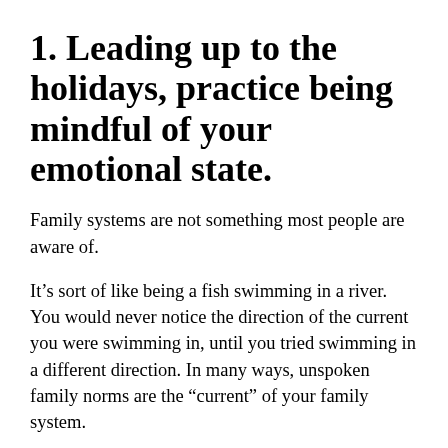1. Leading up to the holidays, practice being mindful of your emotional state.
Family systems are not something most people are aware of.
It’s sort of like being a fish swimming in a river. You would never notice the direction of the current you were swimming in, until you tried swimming in a different direction. In many ways, unspoken family norms are the “current” of your family system.
If people go to therapy later in life, sometimes